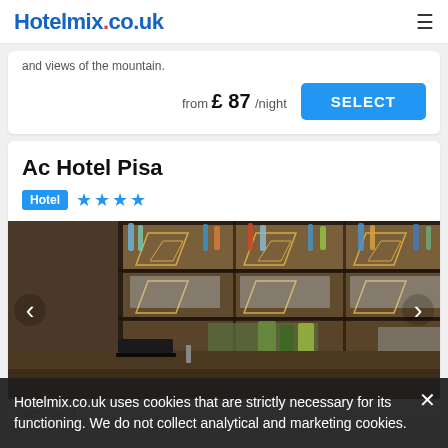Hotelmix.co.uk
and views of the mountain.
from £ 87/night
Ac Hotel Pisa
Hotel ★★★★
[Figure (photo): Interior bar area of Ac Hotel Pisa showing illuminated back-bar shelving with bottles and glassware, dark bar counter with seating]
Hotelmix.co.uk uses cookies that are strictly necessary for its functioning. We do not collect analytical and marketing cookies.